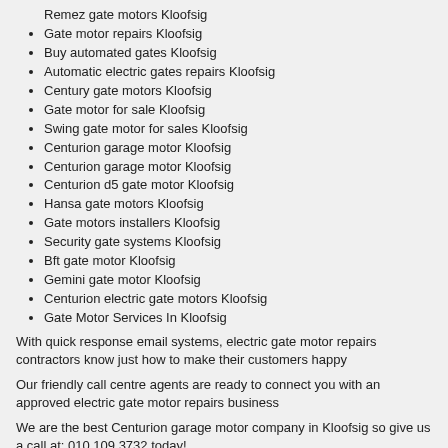Remez gate motors Kloofsig
Gate motor repairs Kloofsig
Buy automated gates Kloofsig
Automatic electric gates repairs Kloofsig
Century gate motors Kloofsig
Gate motor for sale Kloofsig
Swing gate motor for sales Kloofsig
Centurion garage motor Kloofsig
Centurion garage motor Kloofsig
Centurion d5 gate motor Kloofsig
Hansa gate motors Kloofsig
Gate motors installers Kloofsig
Security gate systems Kloofsig
Bft gate motor Kloofsig
Gemini gate motor Kloofsig
Centurion electric gate motors Kloofsig
Gate Motor Services In Kloofsig
With quick response email systems, electric gate motor repairs contractors know just how to make their customers happy
Our friendly call centre agents are ready to connect you with an approved electric gate motor repairs business
We are the best Centurion garage motor company in Kloofsig so give us a call at: 010 109 3732 today!
Domestic gas pipe installation in Kloofsig >>